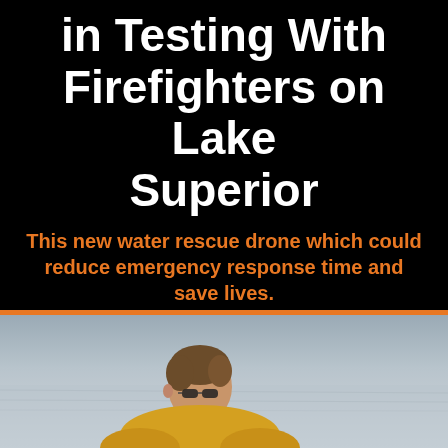in Testing With Firefighters on Lake Superior
This new water rescue drone which could reduce emergency response time and save lives.
BY
MARCO MARGARITOFF
AUG 3, 2017 3:46 PM
[Figure (photo): Man with short brown hair wearing sunglasses and a yellow jacket, viewed from behind, looking out over a lake (Lake Superior). Gray sky and water in background.]